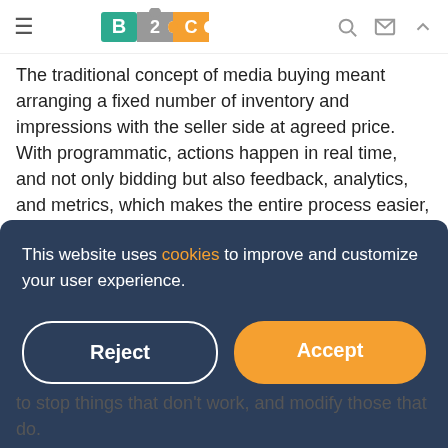B2C
The traditional concept of media buying meant arranging a fixed number of inventory and impressions with the seller side at agreed price. With programmatic, actions happen in real time, and not only bidding but also feedback, analytics, and metrics, which makes the entire process easier, more transparent and efficient.
Instead of spending money without having insights into the results, now marketers can organize their budget and make smaller buys, get insights in real time and make necessary
This website uses cookies to improve and customize your user experience.
to stop things that don't work, and modify those that do.